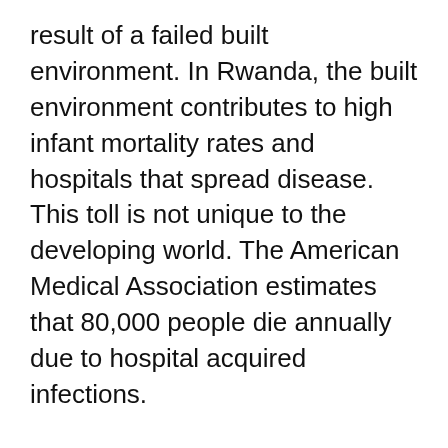result of a failed built environment. In Rwanda, the built environment contributes to high infant mortality rates and hospitals that spread disease. This toll is not unique to the developing world. The American Medical Association estimates that 80,000 people die annually due to hospital acquired infections.
Integrating health considerations with building design is critical to resolving these devastating societal issues, but the research and social capital required is fiscally unachievable using current modes of practice. Buildings in the developing world are largely designed in isolation from the communities they serve. Often, local construction processes and materials are ignored and replaced